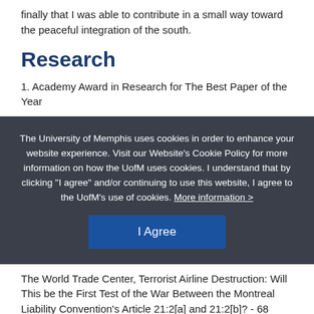finally that I was able to contribute in a small way toward the peaceful integration of the south.
Research
1. Academy Award in Research for The Best Paper of the Year
The University of Memphis uses cookies in order to enhance your website experience. Visit our Website’s Cookie Policy for more information on how the UofM uses cookies. I understand that by clicking “I agree” and/or continuing to use this website, I agree to the UofM’s use of cookies. More information >
I Agree
The World Trade Center, Terrorist Airline Destruction: Will This be the First Test of the War Between the Montreal Liability Convention’s Article 21:2[a] and 21:2[b]? - 68 SMU